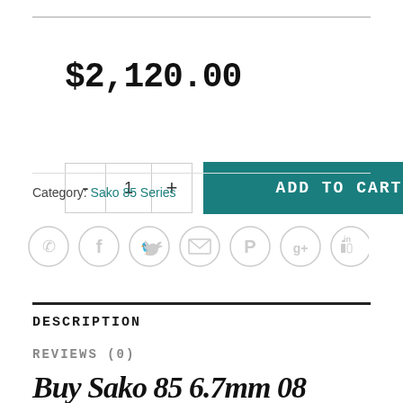$2,120.00
- 1 + ADD TO CART
Category: Sako 85 Series
[Figure (infographic): Row of 7 circular social sharing icons: phone, Facebook, Twitter, email, Pinterest, Google+, LinkedIn — all grey outline circles]
DESCRIPTION
REVIEWS (0)
Buy Sako 85 6.7mm 08